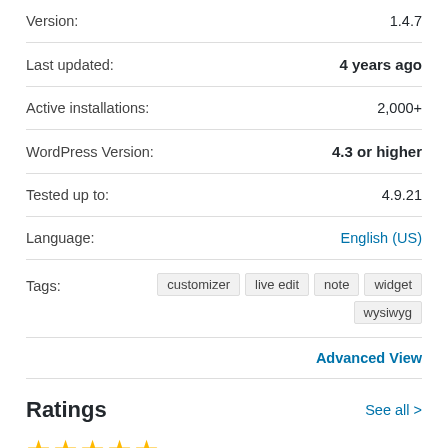| Version: | 1.4.7 |
| Last updated: | 4 years ago |
| Active installations: | 2,000+ |
| WordPress Version: | 4.3 or higher |
| Tested up to: | 4.9.21 |
| Language: | English (US) |
| Tags: | customizer  live edit  note  widget  wysiwyg |
Advanced View
Ratings
See all >
[Figure (other): Five gold star rating icons]